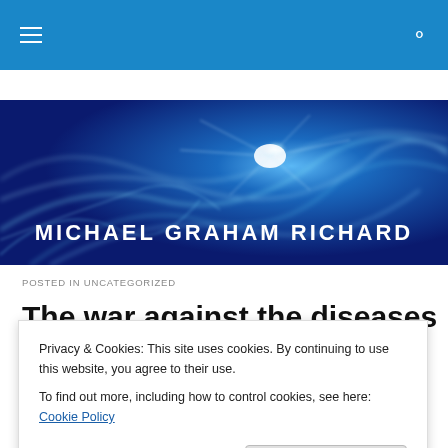≡  🔍
[Figure (illustration): Dark blue abstract energy/smoke background banner with the text 'MICHAEL GRAHAM RICHARD' in large white bold letters at the bottom center]
POSTED IN UNCATEGORIZED
The war against the diseases
Privacy & Cookies: This site uses cookies. By continuing to use this website, you agree to their use.
To find out more, including how to control cookies, see here: Cookie Policy
Close and accept
and suffering on Earth: